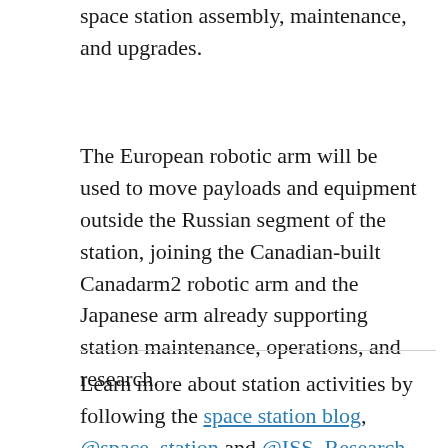space station assembly, maintenance, and upgrades.
The European robotic arm will be used to move payloads and equipment outside the Russian segment of the station, joining the Canadian-built Canadarm2 robotic arm and the Japanese arm already supporting station maintenance, operations, and research.
Learn more about station activities by following the space station blog, @space_station and @ISS_Research on Twitter, as well as the ISS Facebook and ISS Instagram accounts.